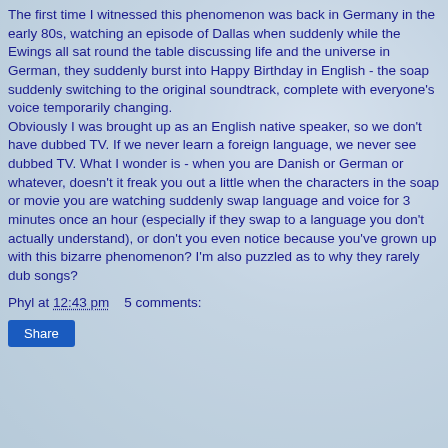The first time I witnessed this phenomenon was back in Germany in the early 80s, watching an episode of Dallas when suddenly while the Ewings all sat round the table discussing life and the universe in German, they suddenly burst into Happy Birthday in English - the soap suddenly switching to the original soundtrack, complete with everyone's voice temporarily changing. Obviously I was brought up as an English native speaker, so we don't have dubbed TV. If we never learn a foreign language, we never see dubbed TV. What I wonder is - when you are Danish or German or whatever, doesn't it freak you out a little when the characters in the soap or movie you are watching suddenly swap language and voice for 3 minutes once an hour (especially if they swap to a language you don't actually understand), or don't you even notice because you've grown up with this bizarre phenomenon? I'm also puzzled as to why they rarely dub songs?
Phyl at 12:43 pm    5 comments:
Share